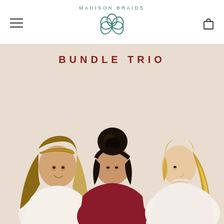MADISON BRAIDS
[Figure (photo): Madison Braids website screenshot showing the brand logo and navigation header at top, with a hero promotional image below showing three women with different hair styles on a beige background. Text reads 'BUNDLE TRIO'. Left woman has braided headband with long wavy ombre hair, center woman has dark hair in an updo bun, right woman has long blonde wavy ponytail. The women wear white and burgundy tops.]